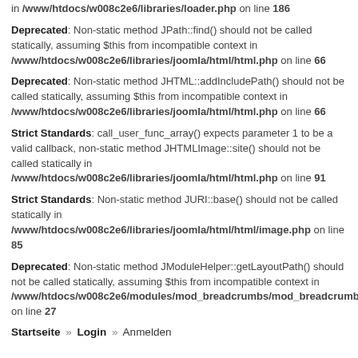in /www/htdocs/w008c2e6/libraries/loader.php on line 186
Deprecated: Non-static method JPath::find() should not be called statically, assuming $this from incompatible context in /www/htdocs/w008c2e6/libraries/joomla/html/html.php on line 66
Deprecated: Non-static method JHTML::addIncludePath() should not be called statically, assuming $this from incompatible context in /www/htdocs/w008c2e6/libraries/joomla/html/html.php on line 66
Strict Standards: call_user_func_array() expects parameter 1 to be a valid callback, non-static method JHTMLImage::site() should not be called statically in /www/htdocs/w008c2e6/libraries/joomla/html/html.php on line 91
Strict Standards: Non-static method JURI::base() should not be called statically in /www/htdocs/w008c2e6/libraries/joomla/html/html/image.php on line 85
Deprecated: Non-static method JModuleHelper::getLayoutPath() should not be called statically, assuming $this from incompatible context in /www/htdocs/w008c2e6/modules/mod_breadcrumbs/mod_breadcrumbs.php on line 27
Startseite » Login » Anmelden